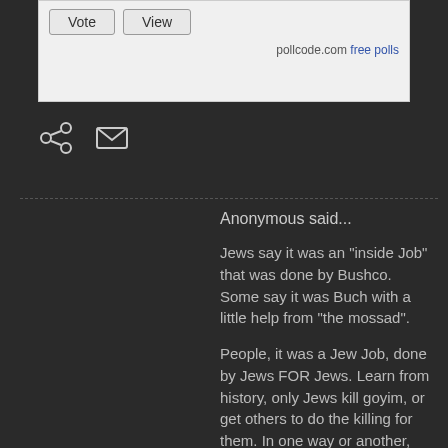[Figure (screenshot): Poll widget with Vote and View buttons, and pollcode.com free polls link]
[Figure (other): Share icon (branching dots) and email envelope icon on dark background]
Anonymous said...
Jews say it was an "inside Job" that was done by Bushco. Some say it was Buch with a little help from "the mossad".
People, it was a Jew Job, done by Jews FOR Jews. Learn from history, only Jews kill goyim, or get others to do the killing for them. In one way or another, there is ALWAYS a jew lurking around.
In the case of 911, jews (2% of the worlds population) are ALL OVER 911.
The key points being Jews controlled the